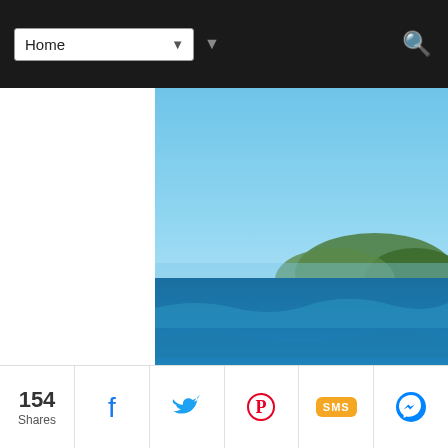Home
[Figure (photo): Beach photo with waves and dark sand shore, overlaid with text 'QUICK GUIDES abango' and 'lakad' branding at the bottom right]
CABANGAN TRAVEL GUIDE | BUDGE + IT
[Figure (infographic): Social share bar with 154 Shares count and buttons for Facebook, Twitter, Pinterest, SMS, and Messenger]